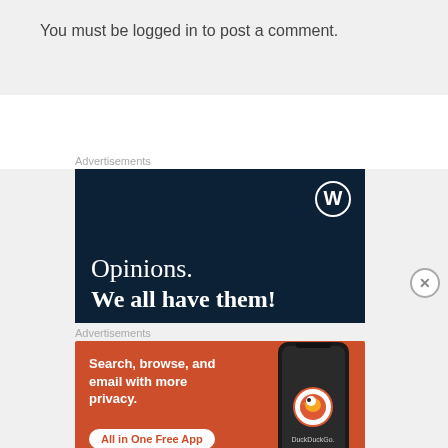You must be logged in to post a comment.
Advertisements
[Figure (screenshot): WordPress advertisement banner with dark navy background showing WordPress logo (W in circle) and text 'Opinions. We all have them!']
Advertisements
[Figure (screenshot): DuckDuckGo advertisement on orange background: 'Search, browse, and email with more privacy. All in One Free App' with DuckDuckGo logo and phone mockup]